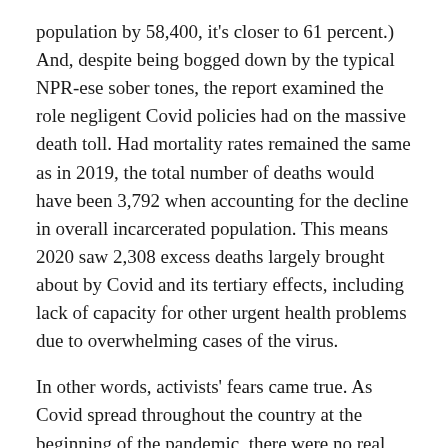population by 58,400, it's closer to 61 percent.) And, despite being bogged down by the typical NPR-ese sober tones, the report examined the role negligent Covid policies had on the massive death toll. Had mortality rates remained the same as in 2019, the total number of deaths would have been 3,792 when accounting for the decline in overall incarcerated population. This means 2020 saw 2,308 excess deaths largely brought about by Covid and its tertiary effects, including lack of capacity for other urgent health problems due to overwhelming cases of the virus.
In other words, activists' fears came true. As Covid spread throughout the country at the beginning of the pandemic, there were no real mitigation efforts by states and federal prison authorities other than locking prisoners in their cells all day—which did little to stop